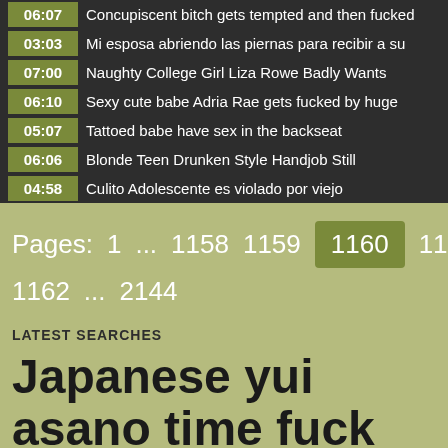06:07  Concupiscent bitch gets tempted and then fucked
03:03  Mi esposa abriendo las piernas para recibir a su
07:00  Naughty College Girl Liza Rowe Badly Wants
06:10  Sexy cute babe Adria Rae gets fucked by huge
05:07  Tattoed babe have sex in the backseat
06:06  Blonde Teen Drunken Style Handjob Still
04:58  Culito Adolescente es violado por viejo
Pages:  1  ...  1158  1159  1160  1161  1162  ...  2144
LATEST SEARCHES
Japanese yui asano time fuck bandits at a gym part 1  Hd porn big cock  Hoollywood acters sexm
Boobs prees by it self